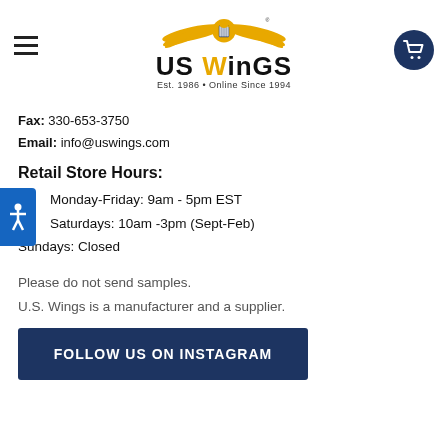[Figure (logo): US Wings logo with golden eagle wings, bold 'US WINGS' text, and tagline 'Est. 1986 • Online Since 1994']
Fax: 330-653-3750
Email: info@uswings.com
Retail Store Hours:
Monday-Friday: 9am - 5pm EST
Saturdays: 10am -3pm (Sept-Feb)
Sundays: Closed
Please do not send samples.
U.S. Wings is a manufacturer and a supplier.
FOLLOW US ON INSTAGRAM